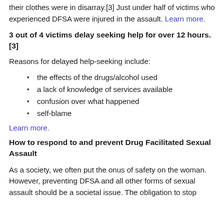their clothes were in disarray.[3] Just under half of victims who experienced DFSA were injured in the assault. Learn more.
3 out of 4 victims delay seeking help for over 12 hours.[3]
Reasons for delayed help-seeking include:
the effects of the drugs/alcohol used
a lack of knowledge of services available
confusion over what happened
self-blame
Learn more.
How to respond to and prevent Drug Facilitated Sexual Assault
As a society, we often put the onus of safety on the woman. However, preventing DFSA and all other forms of sexual assault should be a societal issue. The obligation to stop